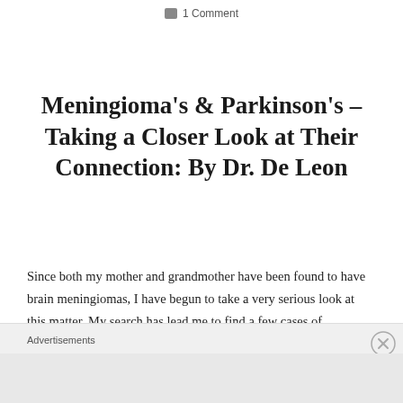1 Comment
Meningioma's & Parkinson's – Taking a Closer Look at Their Connection: By Dr. De Leon
Since both my mother and grandmother have been found to have brain meningiomas, I have begun to take a very serious look at this matter. My search has lead me to find a few cases of meningioma – benign brain tumor arising from the lining covering of the brain (the
Advertisements